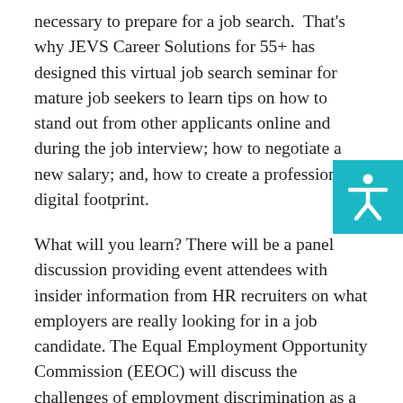necessary to prepare for a job search.  That's why JEVS Career Solutions for 55+ has designed this virtual job search seminar for mature job seekers to learn tips on how to stand out from other applicants online and during the job interview; how to negotiate a new salary; and, how to create a professional digital footprint.
What will you learn? There will be a panel discussion providing event attendees with insider information from HR recruiters on what employers are really looking for in a job candidate. The Equal Employment Opportunity Commission (EEOC) will discuss the challenges of employment discrimination as a mature job applicant.  You will also hear from representatives of the Philadelphia Corporation for Aging, the Pennsylvania CareerLink and more.
Program staff will also explain how to utilize the free services of the JEVS Career Solutions for 55+ program as the initial first step for getting the support mature job seekers